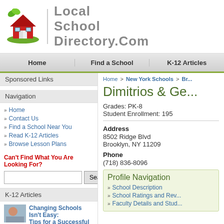[Figure (logo): Local School Directory.com logo with red house icon and green leaves]
Home | Find a School | K-12 Articles
Sponsored Links
Navigation
Home
Contact Us
Find a School Near You
Read K-12 Articles
Browse Lesson Plans
Can't Find What You Are Looking For?
K-12 Articles
Changing Schools Isn't Easy: Tips for a Successful Transition
Home > New York Schools > Br...
Dimitrios & Ge...
Grades: PK-8
Student Enrollment: 195
Address
8502 Ridge Blvd
Brooklyn, NY 11209
Phone
(718) 836-8096
Profile Navigation
School Description
School Ratings and Rev...
Faculty Details and Stud...